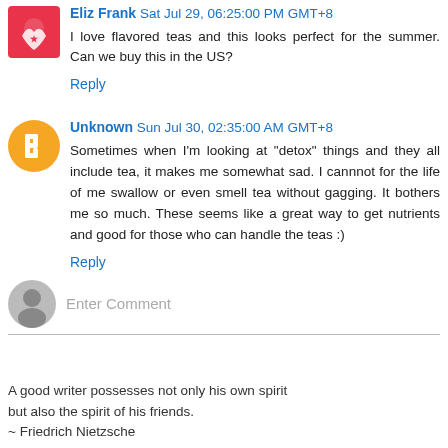Eliz Frank  Sat Jul 29, 06:25:00 PM GMT+8
I love flavored teas and this looks perfect for the summer. Can we buy this in the US?
Reply
Unknown  Sun Jul 30, 02:35:00 AM GMT+8
Sometimes when I'm looking at "detox" things and they all include tea, it makes me somewhat sad. I cannnot for the life of me swallow or even smell tea without gagging. It bothers me so much. These seems like a great way to get nutrients and good for those who can handle the teas :)
Reply
Enter Comment
A good writer possesses not only his own spirit but also the spirit of his friends.
~ Friedrich Nietzsche